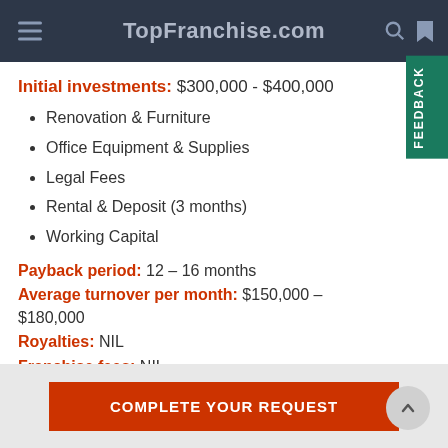TopFranchise.com
Initial investments: $300,000 - $400,000
Renovation & Furniture
Office Equipment & Supplies
Legal Fees
Rental & Deposit (3 months)
Working Capital
Payback period: 12 – 16 months
Average turnover per month: $150,000 – $180,000
Royalties: NIL
Franchise fees: NIL
COMPLETE YOUR REQUEST